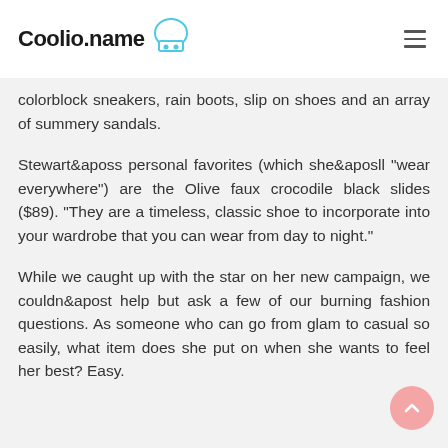Coolio.name
colorblock sneakers, rain boots, slip on shoes and an array of summery sandals.
Stewart&aposs personal favorites (which she&aposll "wear everywhere") are the Olive faux crocodile black slides ($89). "They are a timeless, classic shoe to incorporate into your wardrobe that you can wear from day to night."
While we caught up with the star on her new campaign, we couldn&apost help but ask a few of our burning fashion questions. As someone who can go from glam to casual so easily, what item does she put on when she wants to feel her best? Easy.